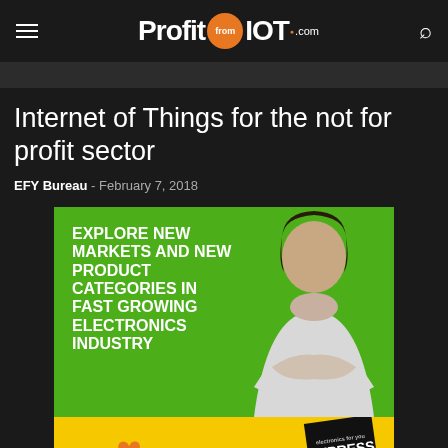Profit from IOT .com
Internet of Things for the not for profit sector
EFY Bureau - February 7, 2018
[Figure (photo): Advertisement image on green background with woman in white blazer and text: EXPLORE NEW MARKETS AND NEW PRODUCT CATEGORIES IN FAST GROWING ELECTRONICS INDUSTRY. Yellow bottom bar with heart icon and Electronics Express magazine badge.]